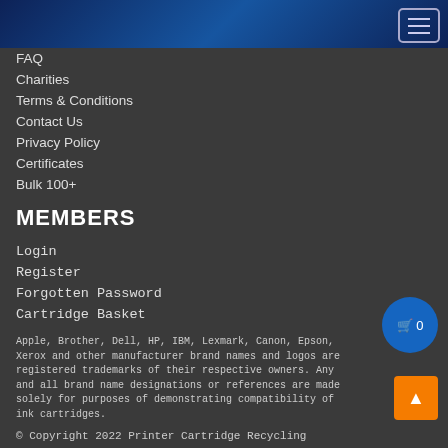[Figure (screenshot): Dark blue gradient navigation header bar with hamburger menu icon (three horizontal lines) in a rounded rectangle button at top right]
FAQ
Charities
Terms & Conditions
Contact Us
Privacy Policy
Certificates
Bulk 100+
MEMBERS
Login
Register
Forgotten Password
Cartridge Basket
Apple, Brother, Dell, HP, IBM, Lexmark, Canon, Epson, Xerox and other manufacturer brand names and logos are registered trademarks of their respective owners. Any and all brand name designations or references are made solely for purposes of demonstrating compatibility of ink cartridges.
© Copyright 2022 Printer Cartridge Recycling
Web Design By Smart Domain Group
Privacy Policy